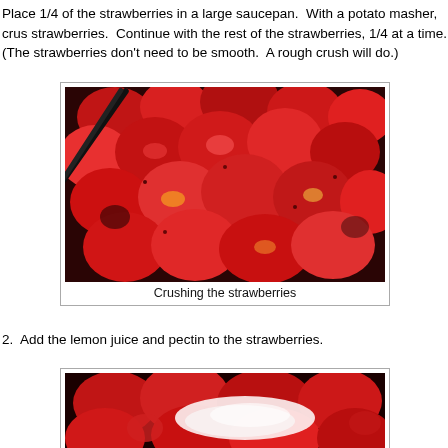Place 1/4 of the strawberries in a large saucepan.  With a potato masher, crus strawberries.  Continue with the rest of the strawberries, 1/4 at a time. (The strawberries don’t need to be smooth.  A rough crush will do.)
[Figure (photo): Photo of crushed strawberries in a dark saucepan with a potato masher visible]
Crushing the strawberries
2.  Add the lemon juice and pectin to the strawberries.
[Figure (photo): Photo of strawberries with white powder (pectin) being added in a dark pan]